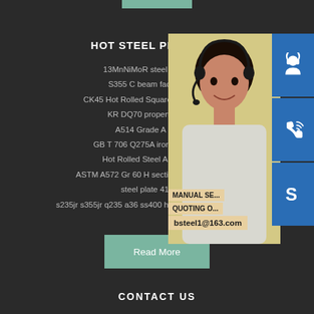HOT STEEL PROD...
13MnNiMoR steel in Is...
S355 C beam factor...
CK45 Hot Rolled Square Steel Ba...
KR DQ70 properties...
A514 Grade A pdf
GB T 706 Q275A iron chann...
Hot Rolled Steel Angle ...
ASTM A572 Gr 60 H section steel che...
steel plate 410
s235jr s355jr q235 a36 ss400 hot rolled equal steel
[Figure (photo): Woman with headset customer service representative with blue icon buttons for chat, phone (Skype-like), and a contact service overlay showing MANUAL SERVICE, QUOTING O..., and email bsteel1@163.com]
Read More
CONTACT US